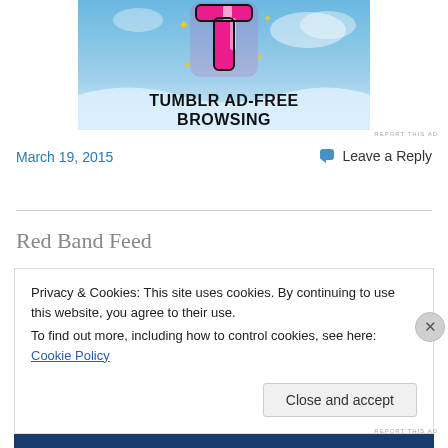[Figure (illustration): Tumblr ad banner showing the Tumblr 't' logo in pink/white with sparkles on a light blue sky background, with bold text reading 'TUMBLR AD-FREE BROWSING']
REPORT THIS AD
March 19, 2015
Leave a Reply
Red Band Feed
Privacy & Cookies: This site uses cookies. By continuing to use this website, you agree to their use.
To find out more, including how to control cookies, see here: Cookie Policy
Close and accept